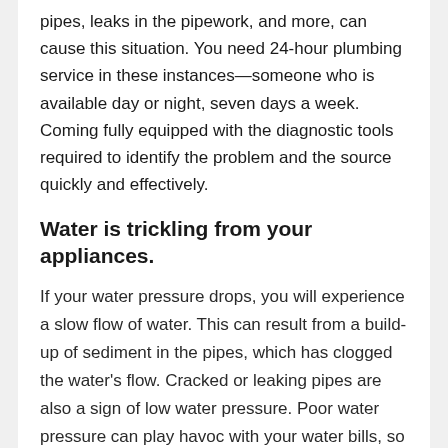pipes, leaks in the pipework, and more, can cause this situation.  You need 24-hour plumbing service in these instances—someone who is available day or night, seven days a week.  Coming fully equipped with the diagnostic tools required to identify the problem and the source quickly and effectively.
Water is trickling from your appliances.
If your water pressure drops, you will experience a slow flow of water.  This can result from a build-up of sediment in the pipes, which has clogged the water's flow.  Cracked or leaking pipes are also a sign of low water pressure.  Poor water pressure can play havoc with your water bills, so trust us, the sooner this problem is fixed, the better!